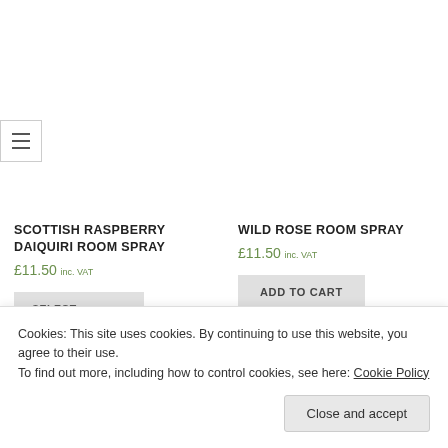[Figure (other): Hamburger menu icon button with three horizontal lines inside a bordered box]
SCOTTISH RASPBERRY DAIQUIRI ROOM SPRAY
£11.50 inc. VAT
WILD ROSE ROOM SPRAY
£11.50 inc. VAT
ADD TO CART
Cookies: This site uses cookies. By continuing to use this website, you agree to their use.
To find out more, including how to control cookies, see here: Cookie Policy
Close and accept